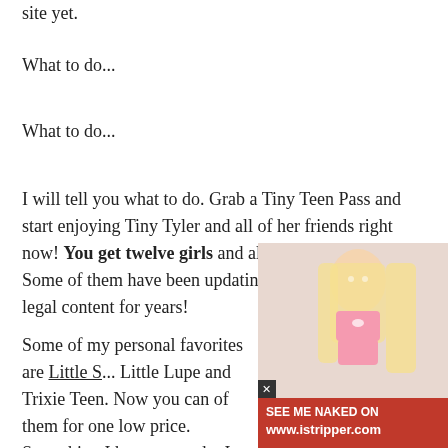site yet.
What to do...
What to do...
I will tell you what to do. Grab a Tiny Teen Pass and start enjoying Tiny Tyler and all of her friends right now! You get twelve girls and all of their updates. Some of them have been updating with fresh barely legal content for years!
Some of my personal favorites are Little S[...], Little Lupe and Trixie Teen. Now you can [...] of them for one low price. Something I ha[...] years to do. I will tell you what though... It w[...] worth the wait!
[Figure (photo): Blonde woman in pink outfit, advertisement overlay for istripper.com with red banner reading SEE ME NAKED ON www.istripper.com]